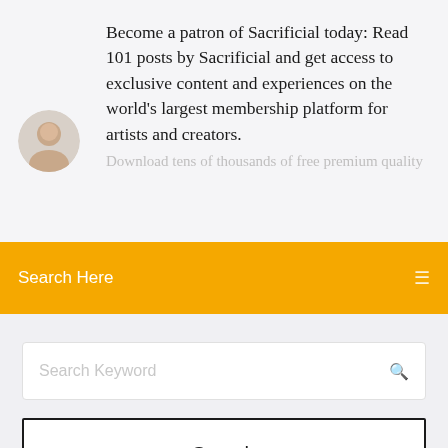[Figure (photo): Circular avatar photo of a man with short hair against a light background]
Become a patron of Sacrificial today: Read 101 posts by Sacrificial and get access to exclusive content and experiences on the world’s largest membership platform for artists and creators.
Download tens of thousands of free premium quality
Search Here
Search Keyword
Search